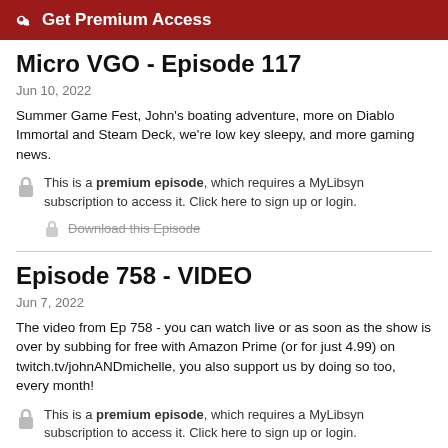🔑 Get Premium Access
Micro VGO - Episode 117
Jun 10, 2022
Summer Game Fest, John's boating adventure, more on Diablo Immortal and Steam Deck, we're low key sleepy, and more gaming news.
This is a premium episode, which requires a MyLibsyn subscription to access it. Click here to sign up or login.
Download this Episode
Episode 758 - VIDEO
Jun 7, 2022
The video from Ep 758 - you can watch live or as soon as the show is over by subbing for free with Amazon Prime (or for just 4.99) on twitch.tv/johnANDmichelle, you also support us by doing so too, every month!
This is a premium episode, which requires a MyLibsyn subscription to access it. Click here to sign up or login.
Download this Episode